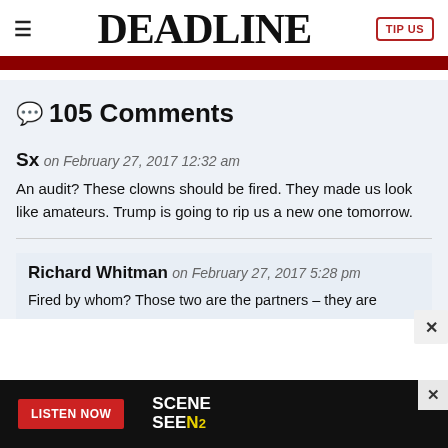≡  DEADLINE  TIP US
💬 105 Comments
Sx on February 27, 2017 12:32 am
An audit? These clowns should be fired. They made us look like amateurs. Trump is going to rip us a new one tomorrow.
Richard Whitman on February 27, 2017 5:28 pm
Fired by whom? Those two are the partners – they are
[Figure (screenshot): Advertisement banner at bottom: black background with red 'LISTEN NOW' button and 'SCENE SEEN' logo on right]